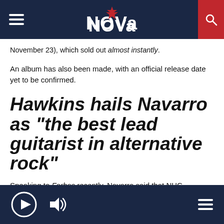NOVA (logo with star)
November 23), which sold out “almost instantly”.
An album has also been made, with an official release date yet to be confirmed.
Hawkins hails Navarro as “the best lead guitarist in alternative rock”
Speaking to Forbes recently, Navarro said that NHC represents “an awakening of everything I loved about playing,”.
Foos drummer Hawkins also praised Navarro, calling him “the
[Player bar with play, volume, and menu controls]